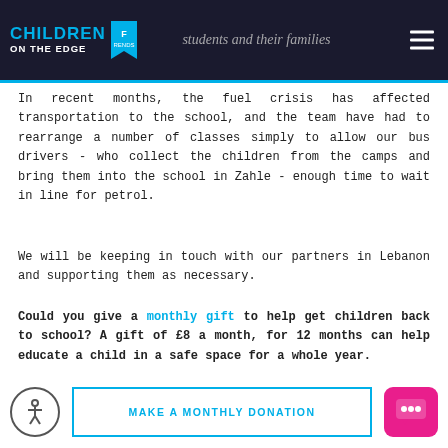Children on the Edge — students and their families
In recent months, the fuel crisis has affected transportation to the school, and the team have had to rearrange a number of classes simply to allow our bus drivers - who collect the children from the camps and bring them into the school in Zahle - enough time to wait in line for petrol.
We will be keeping in touch with our partners in Lebanon and supporting them as necessary.
Could you give a monthly gift to help get children back to school? A gift of £8 a month, for 12 months can help educate a child in a safe space for a whole year.
MAKE A MONTHLY DONATION